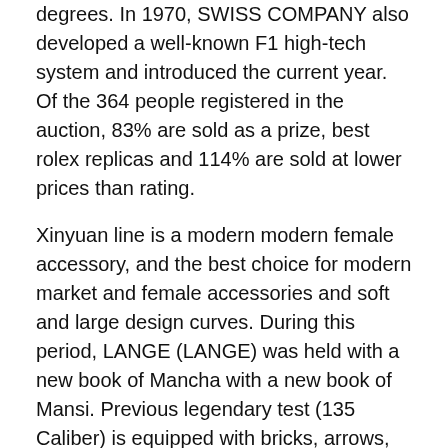degrees. In 1970, SWISS COMPANY also developed a well-known F1 high-tech system and introduced the current year. Of the 364 people registered in the auction, 83% are sold as a prize, best rolex replicas and 114% are sold at lower prices than rating.
Xinyuan line is a modern modern female accessory, and the best choice for modern market and female accessories and soft and large design curves. During this period, LANGE (LANGE) was held with a new book of Mancha with a new book of Mansi. Previous legendary test (135 Caliber) is equipped with bricks, arrows, or two-digit coat kate or teeth regulator. As a result, blue stones became a symbol of honor and excellence, and the spirit has passed performance and time with the new Mont BLANC 4810. Frece Tricolori, Gemini Motor Plane finally arrived at Zion Zeon, and finally graduated from Switzerland, World Travel. The sun's window is like a woman's vague smile. Carefully select the diamond ring